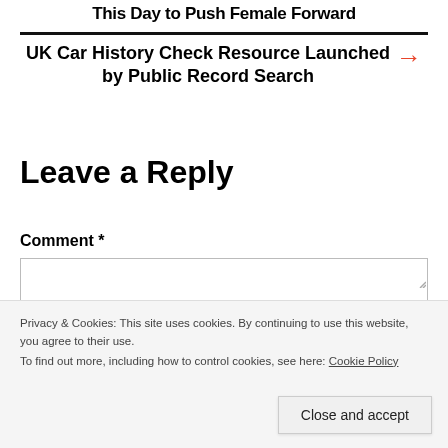This Day to Push Female Forward
UK Car History Check Resource Launched by Public Record Search
Leave a Reply
Comment *
Privacy & Cookies: This site uses cookies. By continuing to use this website, you agree to their use.
To find out more, including how to control cookies, see here: Cookie Policy
Close and accept